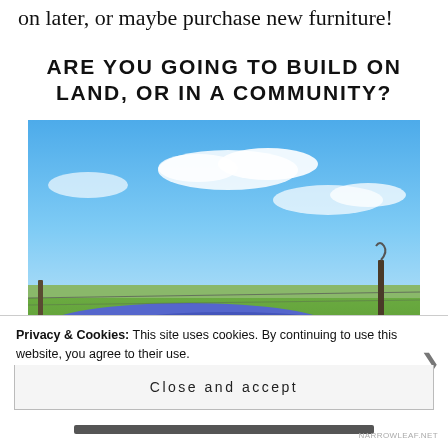on later, or maybe purchase new furniture!
ARE YOU GOING TO BUILD ON LAND, OR IN A COMMUNITY?
[Figure (photo): A wide open Texas landscape with bluebonnets and other wildflowers in the foreground, a barbed wire fence with a metal post, green grass, and a partly cloudy blue sky in the background.]
Privacy & Cookies: This site uses cookies. By continuing to use this website, you agree to their use.
To find out more, including how to control cookies, see here: Cookie Policy
Close and accept